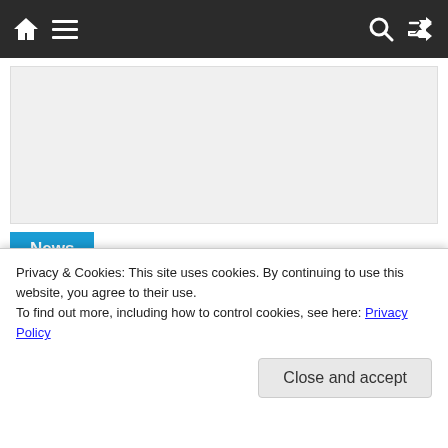Navigation bar with home, menu, search, and shuffle icons
[Figure (other): Advertisement placeholder area, light grey box]
News
[Figure (photo): Photo of a plate of Chinese stir-fried vegetables and mushrooms]
Privacy & Cookies: This site uses cookies. By continuing to use this website, you agree to their use.
To find out more, including how to control cookies, see here: Privacy Policy
Close and accept